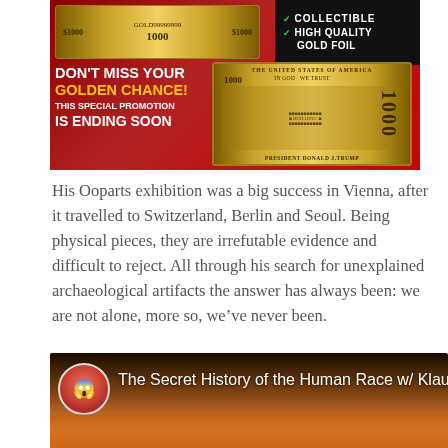[Figure (photo): Advertisement banner for gold foil collectible $1000 Trump bill. Shows a gold banknote with 'PRESIDENT DONALD J. TRUMP', text reading 'DON'T MISS YOUR GOLDEN CHANCE! THIS SPECIAL PROMOTION IS ENDING SOON', and checkmarks for 'COLLECTIBLE' and 'HIGH QUALITY GOLD FOIL'.]
His Ooparts exhibition was a big success in Vienna, after it travelled to Switzerland, Berlin and Seoul. Being physical pieces, they are irrefutable evidence and difficult to reject. All through his search for unexplained archaeological artifacts the answer has always been: we are not alone, more so, we've never been.
[Figure (screenshot): Video thumbnail showing 'The Secret History of the Human Race w/ Klau' with a user avatar (person with sunglasses and open mouth) on the left, against a dramatic orange/red sky background.]